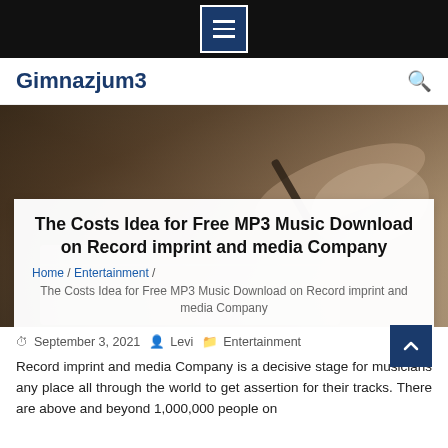[Figure (screenshot): Black top navigation bar with a blue hamburger menu icon (three white horizontal lines) centered]
Gimnazjum3
[Figure (photo): Background photo of a person writing with a pen on paper, blurred/bokeh effect]
The Costs Idea for Free MP3 Music Download on Record imprint and media Company
Home / Entertainment / The Costs Idea for Free MP3 Music Download on Record imprint and media Company
September 3, 2021   Levi   Entertainment
Record imprint and media Company is a decisive stage for musicians any place all through the world to get assertion for their tracks. There are above and beyond 1,000,000 people on